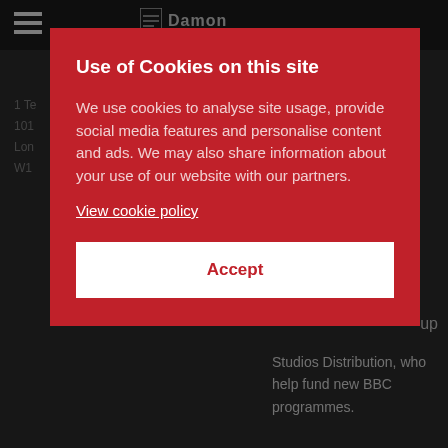[Figure (screenshot): Website header with hamburger menu icon on the left and a logo/site name (Damon) in the center, on a dark background]
1 Te
101
Lon
W1
up
Studios Distribution, who help fund new BBC programmes.
Use of Cookies on this site
We use cookies to analyse site usage, provide social media features and personalise content and ads. We may also share information about your use of our website with our partners.
View cookie policy
Accept